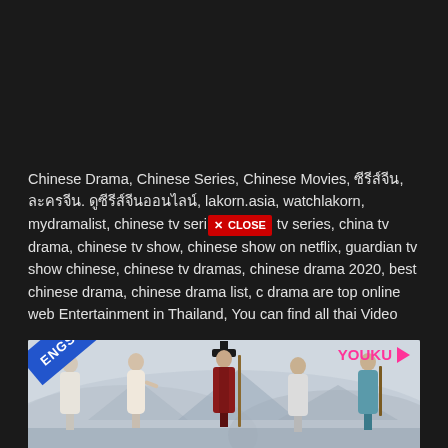Chinese Drama, Chinese Series, Chinese Movies, ซีรีส์จีน, ละครจีน. ดูซีรีส์จีนออนไลน์, lakorn.asia, watchlakorn, mydramalist, chinese tv series, chinese tv series, china tv drama, chinese tv show, chinese show on netflix, guardian tv show chinese, chinese tv dramas, chinese drama 2020, best chinese drama, chinese drama list, c drama are top online web Entertainment in Thailand, You can find all thai Video
[Figure (photo): Photo of Chinese drama cast members in traditional costumes with ENGSUB badge in upper left corner and YOUKU logo in upper right corner]